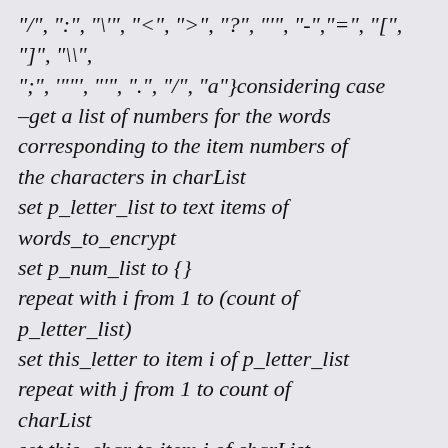"/", ":", "\'", "<", ">", "?", "\''", "-","=", "[", "]", "\\", ";", """", "'", ".", "/", "a"}considering case –get a list of numbers for the words corresponding to the item numbers of the characters in charList set p_letter_list to text items of words_to_encrypt set p_num_list to {} repeat with i from 1 to (count of p_letter_list) set this_letter to item i of p_letter_list repeat with j from 1 to count of charList set this_char to item j of charList